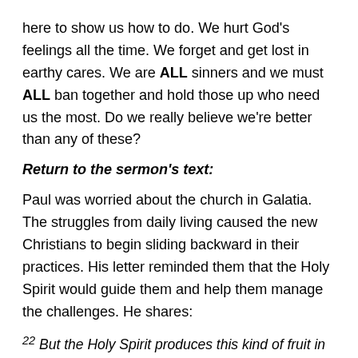here to show us how to do. We hurt God's feelings all the time. We forget and get lost in earthy cares. We are ALL sinners and we must ALL ban together and hold those up who need us the most. Do we really believe we're better than any of these?
Return to the sermon's text:
Paul was worried about the church in Galatia. The struggles from daily living caused the new Christians to begin sliding backward in their practices. His letter reminded them that the Holy Spirit would guide them and help them manage the challenges. He shares:
22 But the Holy Spirit produces this kind of fruit in our lives: love, joy, peace, patience, kindness, goodness, faithfulness, 23 gentleness, and self-control. There is no